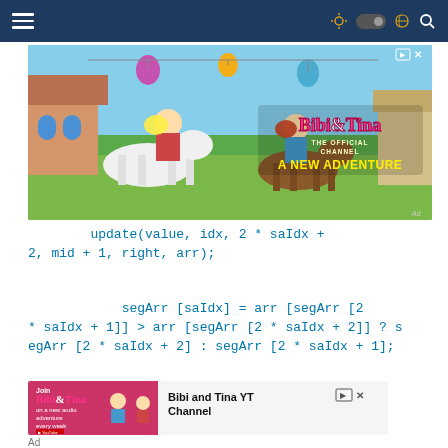Navigation bar with hamburger menu and icons
[Figure (illustration): Bibi and Tina cartoon advertisement banner showing two girls on horses with colorful background and text 'Bibi&Tina THE OFFICIAL CHANNEL A NEW ADVENTURE']
update(value, idx, 2 * saIdx + 2, mid + 1, right, arr);
segArr [saIdx] = arr [segArr [2 * saIdx + 1]] > arr [segArr [2 * saIdx + 2]] ? segArr [2 * saIdx + 2] : segArr [2 * saIdx + 1];
[Figure (illustration): Small Bibi and Tina advertisement with pink background, two cartoon characters, and text 'Join Bibi&Tina on a new audio adventure every week']
Ad